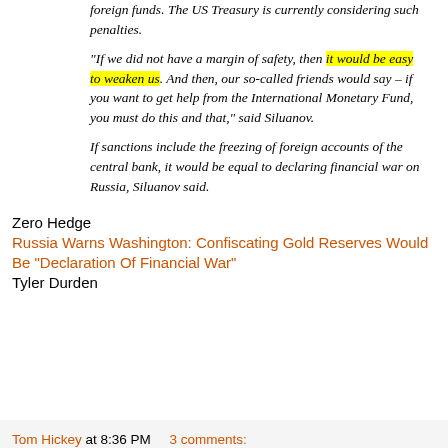foreign funds. The US Treasury is currently considering such penalties.
"If we did not have a margin of safety, then it would be easy to weaken us. And then, our so-called friends would say – if you want to get help from the International Monetary Fund, you must do this and that," said Siluanov.
If sanctions include the freezing of foreign accounts of the central bank, it would be equal to declaring financial war on Russia, Siluanov said.
Zero Hedge
Russia Warns Washington: Confiscating Gold Reserves Would Be "Declaration Of Financial War"
Tyler Durden
Tom Hickey at 8:36 PM    3 comments: